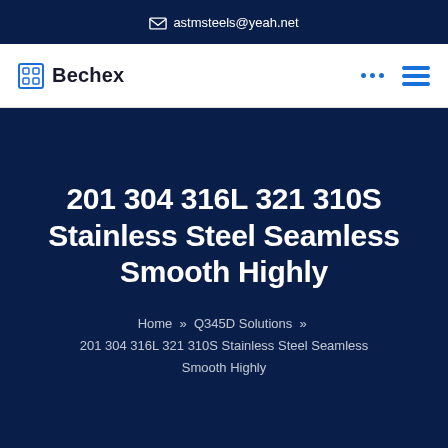✉ astmsteels@yeah.net
[Figure (logo): Bechex logo with square icon and bold text]
201 304 316L 321 310S Stainless Steel Seamless Smooth Highly
Home » Q345D Solutions » 201 304 316L 321 310S Stainless Steel Seamless Smooth Highly